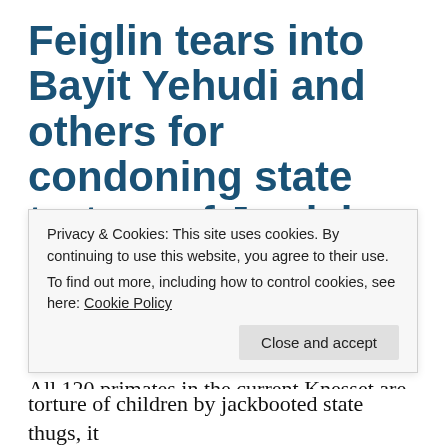Feiglin tears into Bayit Yehudi and others for condoning state torture of Jewish children
December 22, 2015   Israeli Politics   Duma, Israeli Knesset, Moshe Feiglin, Shabak, Torture
All 120 primates in the current Knesset are evil and should be expelled from the country. I have
Privacy & Cookies: This site uses cookies. By continuing to use this website, you agree to their use.
To find out more, including how to control cookies, see here: Cookie Policy
torture of children by jackbooted state thugs, it